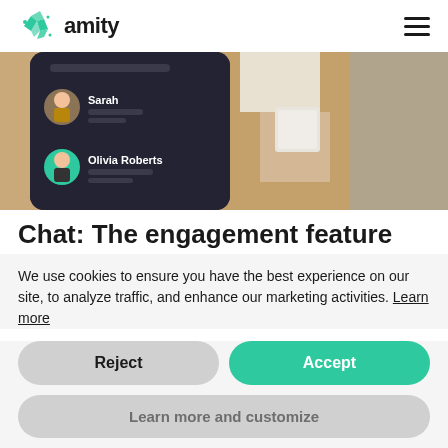amity
[Figure (screenshot): App screenshot showing a dark-themed messaging UI with user avatars for Sarah and Olivia Roberts, overlaid on a photo of a person in a beige blazer holding a microphone cube.]
Chat: The engagement feature
We use cookies to ensure you have the best experience on our site, to analyze traffic, and enhance our marketing activities. Learn more
Reject
Accept
Learn more and customize